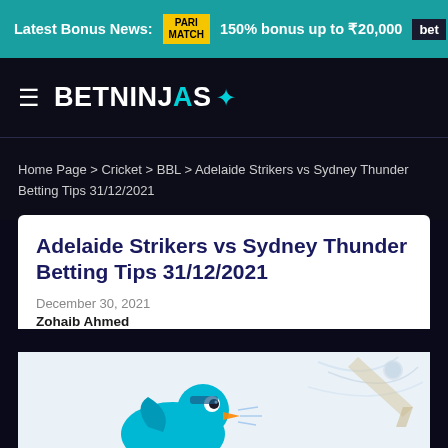Latest Bonus News: PARIMATCH 150% bonus up to ₹20,000 bet
[Figure (logo): BetNinjas logo with hamburger menu icon on dark background]
Home Page > Cricket > BBL > Adelaide Strikers vs Sydney Thunder Betting Tips 31/12/2021
Adelaide Strikers vs Sydney Thunder Betting Tips 31/12/2021
December 30, 2021
Zohaib Ahmed
[Figure (illustration): Cartoon cricket bird mascot illustration with cricket bat and ball on light blue/white background]